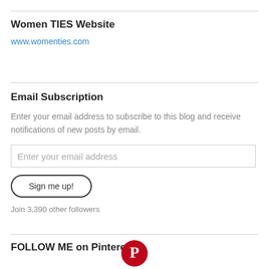Women TIES Website
www.womenties.com
Email Subscription
Enter your email address to subscribe to this blog and receive notifications of new posts by email.
Enter your email address
Sign me up!
Join 3,390 other followers
FOLLOW ME on Pinterest